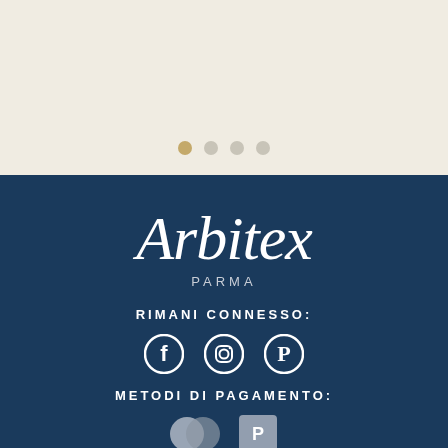[Figure (other): Carousel navigation dots: one gold filled dot and three grey outlined dots on a cream background]
[Figure (logo): Arbitex Parma logo in white cursive script on dark navy background, with PARMA in spaced caps below]
RIMANI CONNESSO:
[Figure (other): Social media icons: Facebook, Instagram, Pinterest in white on dark navy background]
METODI DI PAGAMENTO:
[Figure (other): Payment method icons partially visible at bottom]